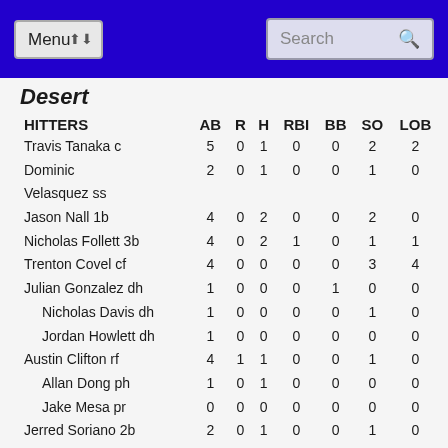Menu | Search
Desert
| HITTERS | AB | R | H | RBI | BB | SO | LOB |
| --- | --- | --- | --- | --- | --- | --- | --- |
| Travis Tanaka c | 5 | 0 | 1 | 0 | 0 | 2 | 2 |
| Dominic Velasquez ss | 2 | 0 | 1 | 0 | 0 | 1 | 0 |
| Jason Nall 1b | 4 | 0 | 2 | 0 | 0 | 2 | 0 |
| Nicholas Follett 3b | 4 | 0 | 2 | 1 | 0 | 1 | 1 |
| Trenton Covel cf | 4 | 0 | 0 | 0 | 0 | 3 | 4 |
| Julian Gonzalez dh | 1 | 0 | 0 | 0 | 1 | 0 | 0 |
| Nicholas Davis dh | 1 | 0 | 0 | 0 | 0 | 1 | 0 |
| Jordan Howlett dh | 1 | 0 | 0 | 0 | 0 | 0 | 0 |
| Austin Clifton rf | 4 | 1 | 1 | 0 | 0 | 1 | 0 |
| Allan Dong ph | 1 | 0 | 1 | 0 | 0 | 0 | 0 |
| Jake Mesa pr | 0 | 0 | 0 | 0 | 0 | 0 | 0 |
| Jerred Soriano 2b | 2 | 0 | 1 | 0 | 0 | 1 | 0 |
| Matt Hernandez 1b | 1 | 0 | 0 | 0 | 0 | 0 | 1 |
| Hunter Torres ph | 1 | 0 | 1 | 0 | 0 | 0 | 0 |